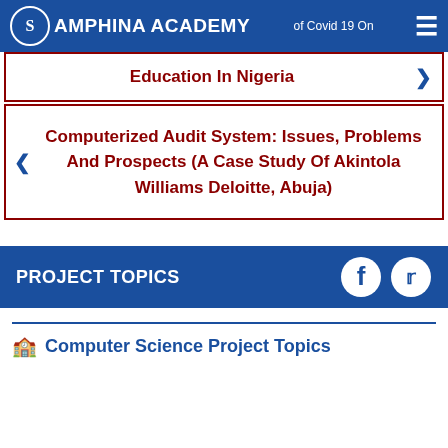Samphina Academy — ...of Covid 19 On
Education In Nigeria
Computerized Audit System: Issues, Problems And Prospects (A Case Study Of Akintola Williams Deloitte, Abuja)
PROJECT TOPICS
Computer Science Project Topics